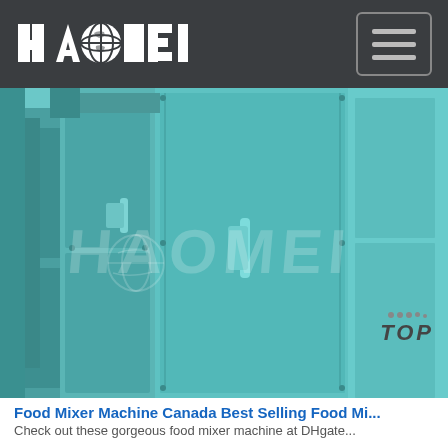HAOMEI
[Figure (photo): Photo of industrial food mixer machines with teal/blue-green colored metal panels and doors, shot from a low angle perspective. A HAOMEI watermark is overlaid on the image.]
Food Mixer Machine Canada Best Selling Food Mi...
Check out these gorgeous food mixer machine at DHgate...